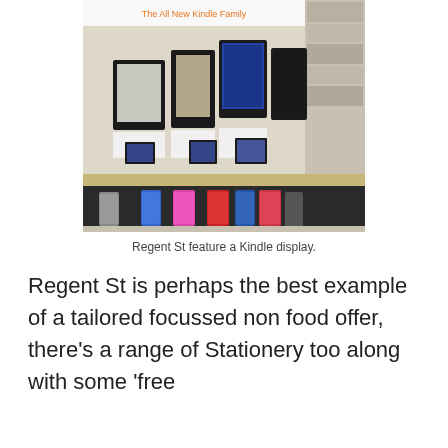[Figure (photo): A retail store display stand featuring 'The All New Kindle Family' banner, with multiple Kindle e-readers and tablets on the top shelf and colorful Kindle cases (pink, blue, red, grey) hanging on the lower shelves.]
Regent St feature a Kindle display.
Regent St is perhaps the best example of a tailored focussed non food offer, there's a range of Stationery too along with some 'free